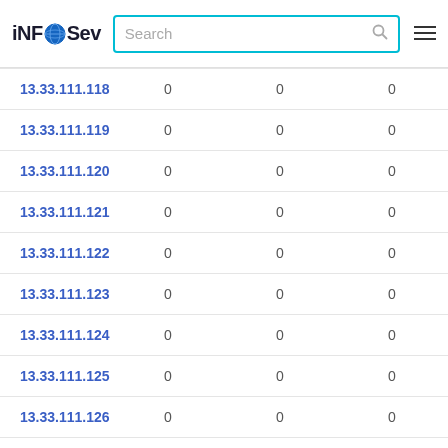iNFOSev | Search
| IP |  |  |  |
| --- | --- | --- | --- |
| 13.33.111.118 | 0 | 0 | 0 |
| 13.33.111.119 | 0 | 0 | 0 |
| 13.33.111.120 | 0 | 0 | 0 |
| 13.33.111.121 | 0 | 0 | 0 |
| 13.33.111.122 | 0 | 0 | 0 |
| 13.33.111.123 | 0 | 0 | 0 |
| 13.33.111.124 | 0 | 0 | 0 |
| 13.33.111.125 | 0 | 0 | 0 |
| 13.33.111.126 | 0 | 0 | 0 |